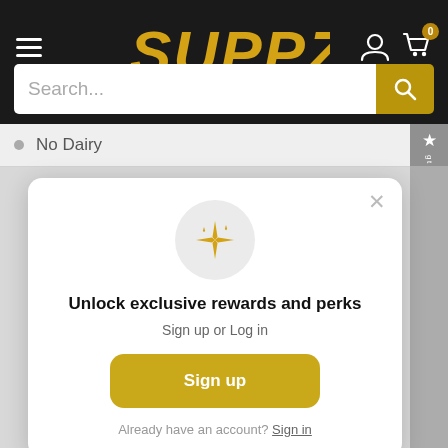[Figure (screenshot): SUPPZ logo in gold italic bold text on dark header]
Search...
No Dairy
[Figure (infographic): Modal popup with sparkle icon, unlock exclusive rewards and perks message, sign up or log in text, sign up button, and already have an account sign in link]
Unlock exclusive rewards and perks
Sign up or Log in
Sign up
Already have an account? Sign in